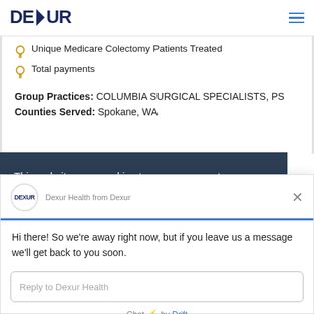DEXUR
Unique Medicare Colectomy Patients Treated
Total payments
Group Practices: COLUMBIA SURGICAL SPECIALISTS, PS
Counties Served: Spokane, WA
This website uses cookies to ensure you get [best] experience on our website. By using...
Dexur Health from Dexur
Hi there! So we're away right now, but if you leave us a message we'll get back to you soon.
Reply to Dexur Health
Chat ⚡ by Drift